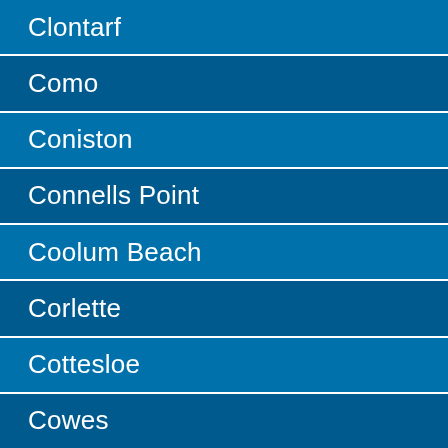Clontarf
Como
Coniston
Connells Point
Coolum Beach
Corlette
Cottesloe
Cowes